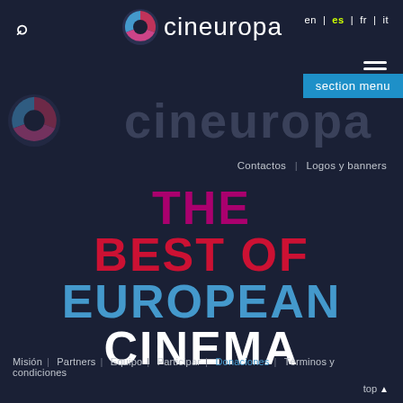[Figure (logo): Cineuropa website header with logo, language switcher (en | es | fr | it), search icon, hamburger menu, and section menu button]
en | es | fr | it
Contactos  |  Logos y banners
THE BEST OF EUROPEAN CINEMA
Misión  |  Partners  |  Equipo  |  Participar  |  Donaciones  |  Términos y condiciones
top ▲